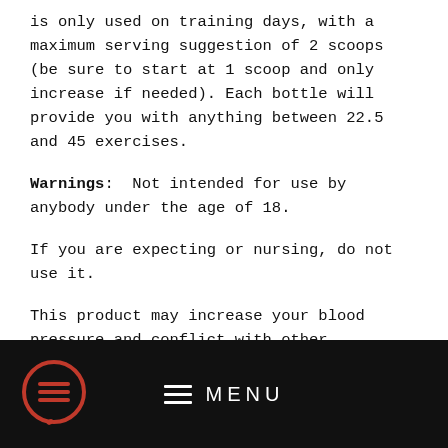is only used on training days, with a maximum serving suggestion of 2 scoops (be sure to start at 1 scoop and only increase if needed). Each bottle will provide you with anything between 22.5 and 45 exercises.
Warnings: Not intended for use by anybody under the age of 18.
If you are expecting or nursing, do not use it.
This product may increase your blood pressure and conflict with other medications you take. Consult your doctor before using this product.
Caffeine users may encounter severe adverse health impacts...
[Figure (screenshot): Black navigation menu bar with hamburger menu icon in a red speech bubble circle on the left, and MENU label with three horizontal lines in the center]
qualified health care provider.